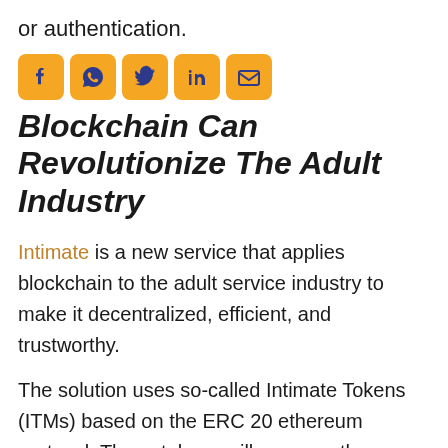or authentication.
[Figure (other): Row of five social media share icons: Facebook, WhatsApp, Twitter, LinkedIn, Email — each with orange/yellow rounded square background and dark blue icon]
Blockchain Can Revolutionize The Adult Industry
Intimate is a new service that applies blockchain to the adult service industry to make it decentralized, efficient, and trustworthy.
The solution uses so-called Intimate Tokens (ITMs) based on the ERC 20 ethereum protocol. These tokens will serve as the payment and verification system for the adult services